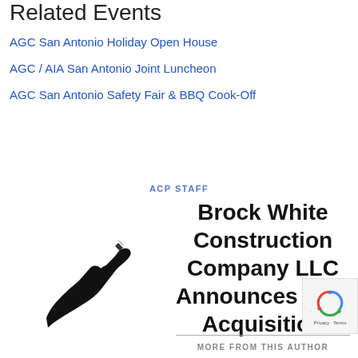Related Events
AGC San Antonio Holiday Open House
AGC / AIA San Antonio Joint Luncheon
AGC San Antonio Safety Fair & BBQ Cook-Off
ACP STAFF
Brock White Construction Company LLC Announces New Acquisition
[Figure (illustration): Black silhouette of a hand holding a pen/pencil, writing]
MORE FROM THIS AUTHOR